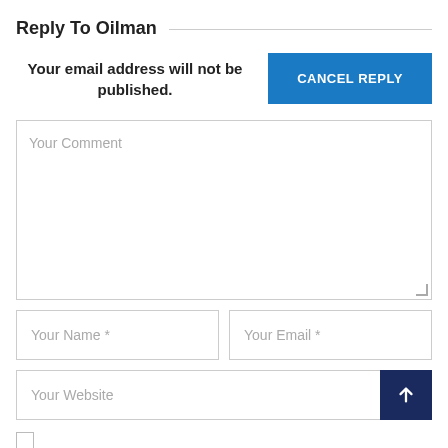Reply To Oilman
Your email address will not be published.
[Figure (screenshot): Blue 'CANCEL REPLY' button]
[Figure (screenshot): Large textarea input with placeholder 'Your Comment']
[Figure (screenshot): Two input fields: 'Your Name *' and 'Your Email *']
[Figure (screenshot): Website input field with dark blue scroll-to-top button on the right showing an upward arrow]
[Figure (screenshot): Partially visible checkbox at the bottom]